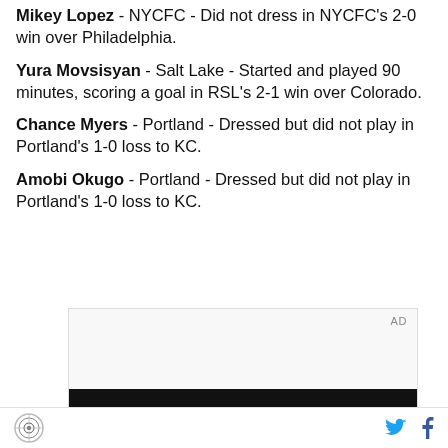Mikey Lopez - NYCFC - Did not dress in NYCFC's 2-0 win over Philadelphia.
Yura Movsisyan - Salt Lake - Started and played 90 minutes, scoring a goal in RSL's 2-1 win over Colorado.
Chance Myers - Portland - Dressed but did not play in Portland's 1-0 loss to KC.
Amobi Okugo - Portland - Dressed but did not play in Portland's 1-0 loss to KC.
[Figure (other): Advertisement box with AD label and dark image bar at bottom]
Site logo, Twitter icon, Facebook icon